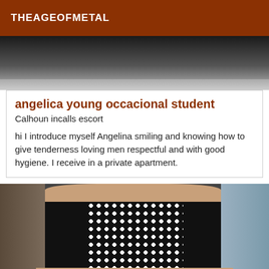THEAGEOFMETAL
[Figure (photo): Top portion of a black and white photo, dark tones, partial view of a person near a ledge or surface]
angelica young occacional student
Calhoun incalls escort
hi I introduce myself Angelina smiling and knowing how to give tenderness loving men respectful and with good hygiene. I receive in a private apartment.
[Figure (photo): Photo of a person wearing black and white polka dot high-waisted shorts/bikini bottoms, with rocks in the background]